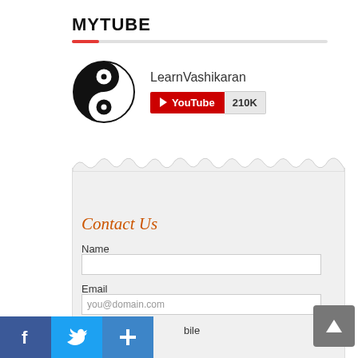MYTUBE
[Figure (logo): YouTube channel widget showing LearnVashikaran channel with yin-yang logo icon, YouTube subscribe button, and 210K subscriber count]
Contact Us
Name
Email
you@domain.com
bile
[Figure (infographic): Social media share icons: Facebook (blue f), Twitter (blue bird), and share/add button (+), plus a back-to-top button (grey square with upward arrow)]